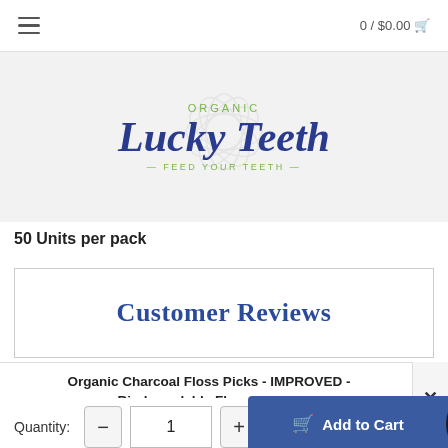0 / $0.00
[Figure (logo): Organic Lucky Teeth logo with tagline 'Feed Your Teeth' on light gray background]
50 Units per pack
Customer Reviews
Organic Charcoal Floss Picks - IMPROVED - Biodegradable Floss Picks...
Quantity: 1